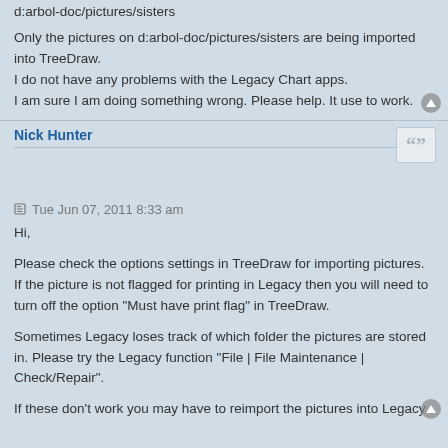d:arbol-doc/pictures/sisters
Only the pictures on d:arbol-doc/pictures/sisters are being imported into TreeDraw.
I do not have any problems with the Legacy Chart apps.
I am sure I am doing something wrong. Please help. It use to work.
Nick Hunter
Tue Jun 07, 2011 8:33 am
Hi,
Please check the options settings in TreeDraw for importing pictures. If the picture is not flagged for printing in Legacy then you will need to turn off the option "Must have print flag" in TreeDraw.
Sometimes Legacy loses track of which folder the pictures are stored in. Please try the Legacy function "File | File Maintenance | Check/Repair".
If these don't work you may have to reimport the pictures into Legacy.